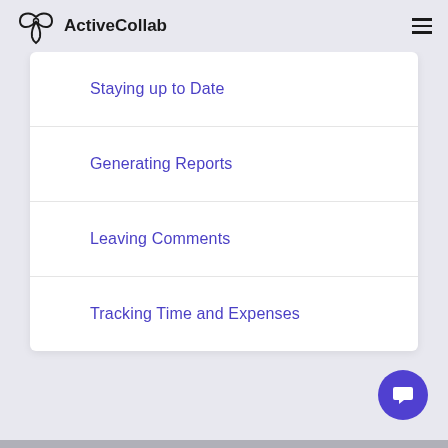ActiveCollab
Staying up to Date
Generating Reports
Leaving Comments
Tracking Time and Expenses